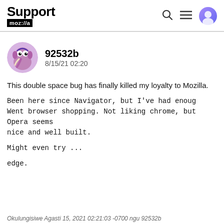Support mozilla //a
[Figure (logo): User avatar — purple cartoon character with googly eyes]
92532b
8/15/21 02:20
This double space bug has finally killed my loyalty to Mozilla.
Been here since Navigator, but I've had enough. Went browser shopping. Not liking chrome, but Opera seems nice and well built.
Might even try ...
edge.
Okulungisiwe Agasti 15, 2021 02:21:03 -0700 ngu 92532b